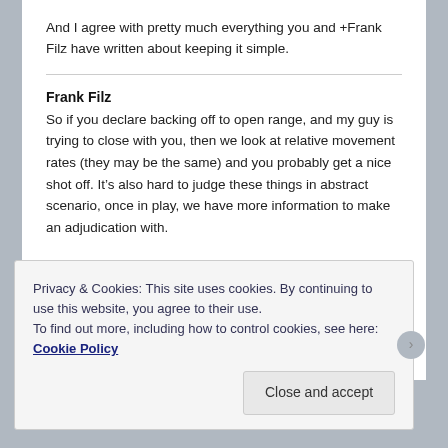And I agree with pretty much everything you and +Frank Filz have written about keeping it simple.
Frank Filz
So if you declare backing off to open range, and my guy is trying to close with you, then we look at relative movement rates (they may be the same) and you probably get a nice shot off. It’s also hard to judge these things in abstract scenario, once in play, we have more information to make an adjudication with.
Privacy & Cookies: This site uses cookies. By continuing to use this website, you agree to their use.
To find out more, including how to control cookies, see here: Cookie Policy